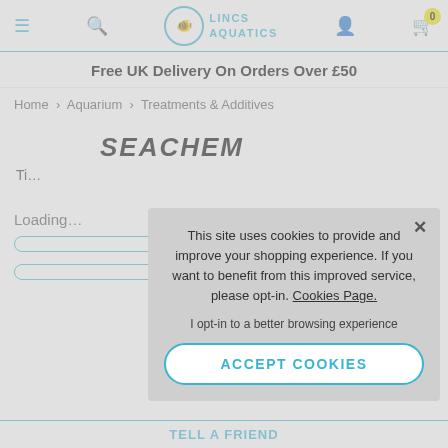Lincs Aquatics navigation bar with hamburger menu, search, logo, user and cart icons
Free UK Delivery On Orders Over £50
Home > Aquarium > Treatments & Additives
SEACHEM
Ti...
Loading...
[Figure (screenshot): Cookie consent modal overlay with text: This site uses cookies to provide and improve your shopping experience. If you want to benefit from this improved service, please opt-in. Cookies Page. I opt-in to a better browsing experience. ACCEPT COOKIES button.]
TELL A FRIEND